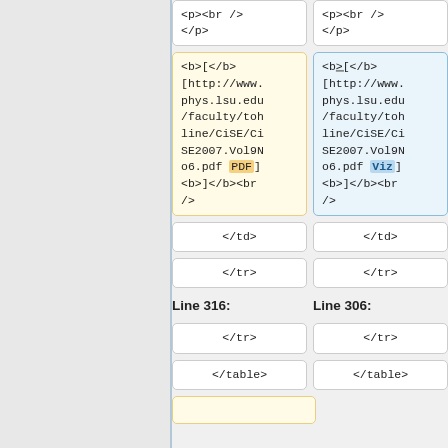<p><br />
</p>
<p><br />
</p>
<b>[</b>[http://www.phys.lsu.edu/faculty/tohline/CiSE/CiSE2007.Vol9No6.pdf PDF]<b>]</b><br />
<b>[</b>[http://www.phys.lsu.edu/faculty/tohline/CiSE/CiSE2007.Vol9No6.pdf Viz]<b>]</b><br />
</td>
</td>
</tr>
</tr>
Line 316:
Line 306:
</tr>
</tr>
</table>
</table>